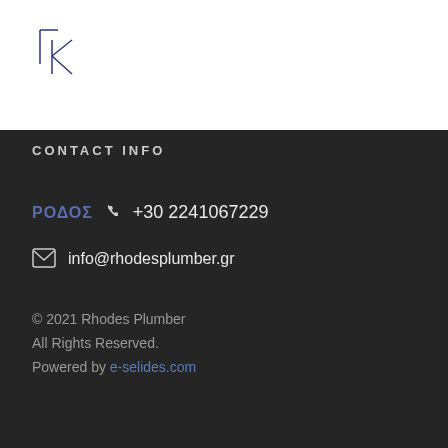[Figure (logo): TK stylized letter logo in dark blue/navy]
CONTACT INFO
ΡΟΔΟΣ  ☎ +30 2241067229
✉ info@rhodesplumber.gr
© 2021 Rhodes Plumber
All Rights Reserved.
Powered by e-selides.com